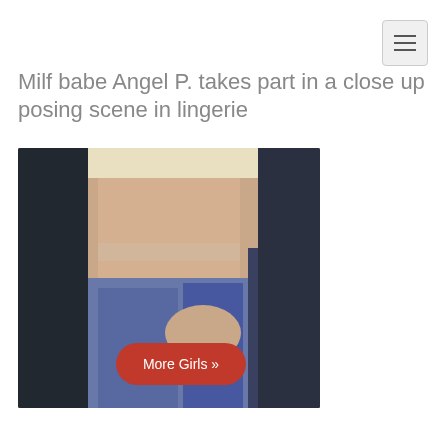Milf babe Angel P. takes part in a close up posing scene in lingerie
[Figure (photo): Cropped photo of a blonde woman wearing a crop top and blue jeans, with a red 'More Girls »' button overlaid at the bottom center of the image.]